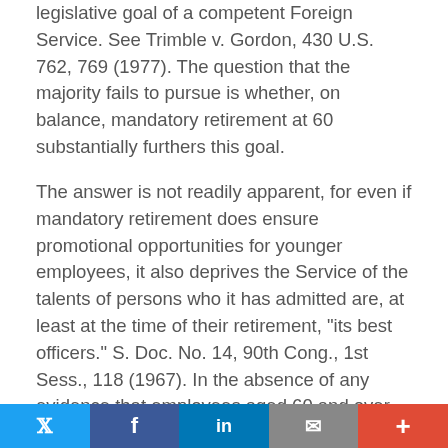legislative goal of a competent Foreign Service. See Trimble v. Gordon, 430 U.S. 762, 769 (1977). The question that the majority fails to pursue is whether, on balance, mandatory retirement at 60 substantially furthers this goal.
The answer is not readily apparent, for even if mandatory retirement does ensure promotional opportunities for younger employees, it also deprives the Service of the talents of persons who it has admitted are, at least at the time of their retirement, "its best officers." S. Doc. No. 14, 90th Cong., 1st Sess., 118 (1967). In the absence of any evidence that employees aged 60 and over are less able, or that forced retirement does in fact boost productivity by enhancing recruitment and promotional opportunities, this proffered justification does not withstand analysis.
Moreover, appellees note that most Foreign Service officers, prompted by the generous pension benefits offered by the Service, retire before the age of 60. See Resp. 1-80. Th...